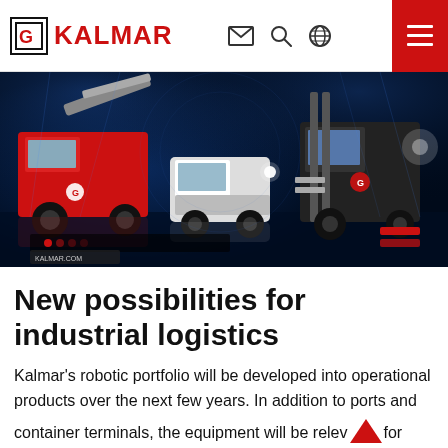KALMAR
[Figure (photo): Dark-themed hero image showing three large Kalmar industrial vehicles (reach stacker, terminal tractor, forklift) staged dramatically with blue spotlights and a reflective floor.]
New possibilities for industrial logistics
Kalmar's robotic portfolio will be developed into operational products over the next few years. In addition to ports and container terminals, the equipment will be relevant for various industry